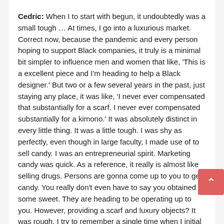Cedric: When I to start with begun, it undoubtedly was a small tough … At times, I go into a luxurious market. Correct now, because the pandemic and every person hoping to support Black companies, it truly is a minimal bit simpler to influence men and women that like, 'This is a excellent piece and I'm heading to help a Black designer.' But two or a few several years in the past, just staying any place, it was like, 'I never ever compensated that substantially for a scarf. I never ever compensated substantially for a kimono.' It was absolutely distinct in every little thing. It was a little tough. I was shy as perfectly, even though in large faculty, I made use of to sell candy. I was an entrepreneurial spirit. Marketing candy was quick. As a reference, it really is almost like selling drugs. Persons are gonna come up to you to get candy. You really don't even have to say you obtained some sweet. They are heading to be operating up to you. However, providing a scarf and luxury objects? It was rough. I try to remember a single time when I initial commenced, I was a bit shy. I was nervous and discouraged … A whole lot of folks will not have the